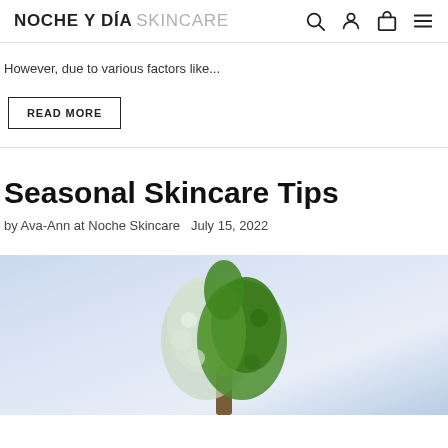NOCHE Y DÍA SKINCARE
However, due to various factors like...
READ MORE
Seasonal Skincare Tips
by Ava-Ann at Noche Skincare   July 15, 2022
[Figure (photo): A tree showing seasonal contrast — one half green with summer foliage, the other side bare or frosted, against a light blue sky background.]